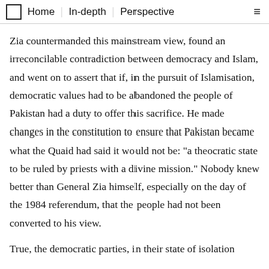Home | In-depth | Perspective ≡
Zia countermanded this mainstream view, found an irreconcilable contradiction between democracy and Islam, and went on to assert that if, in the pursuit of Islamisation, democratic values had to be abandoned the people of Pakistan had a duty to offer this sacrifice. He made changes in the constitution to ensure that Pakistan became what the Quaid had said it would not be: "a theocratic state to be ruled by priests with a divine mission." Nobody knew better than General Zia himself, especially on the day of the 1984 referendum, that the people had not been converted to his view.
True, the democratic parties, in their state of isolation